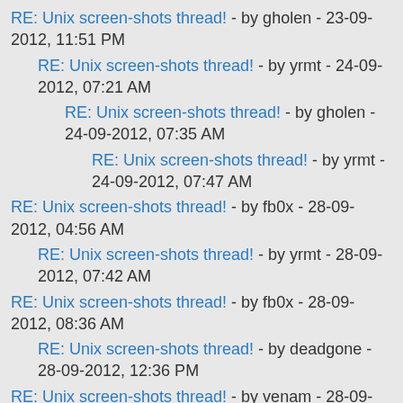RE: Unix screen-shots thread! - by gholen - 23-09-2012, 11:51 PM
RE: Unix screen-shots thread! - by yrmt - 24-09-2012, 07:21 AM
RE: Unix screen-shots thread! - by gholen - 24-09-2012, 07:35 AM
RE: Unix screen-shots thread! - by yrmt - 24-09-2012, 07:47 AM
RE: Unix screen-shots thread! - by fb0x - 28-09-2012, 04:56 AM
RE: Unix screen-shots thread! - by yrmt - 28-09-2012, 07:42 AM
RE: Unix screen-shots thread! - by fb0x - 28-09-2012, 08:36 AM
RE: Unix screen-shots thread! - by deadgone - 28-09-2012, 12:36 PM
RE: Unix screen-shots thread! - by venam - 28-09-2012, 03:35 PM
RE: Unix screen-shots thread! - by deadgone - 28-09-2012, 03:49 PM
RE: Unix screen-shots thread! - by TheHotBot - 29-09-2012, 12:23 PM
RE: Unix screen-shots thread! - by deadgone - 29-09-2012